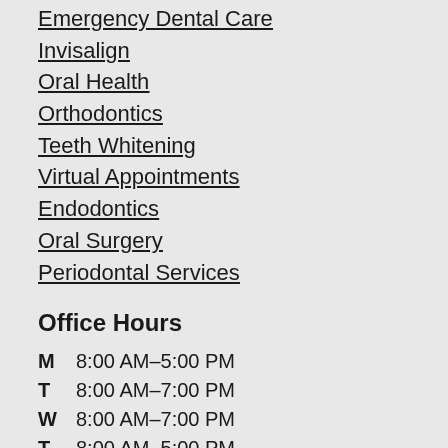Emergency Dental Care
Invisalign
Oral Health
Orthodontics
Teeth Whitening
Virtual Appointments
Endodontics
Oral Surgery
Periodontal Services
Office Hours
M  8:00 AM–5:00 PM
T  8:00 AM–7:00 PM
W  8:00 AM–7:00 PM
T  8:00 AM–5:00 PM
F  7:00 AM–4:00 PM